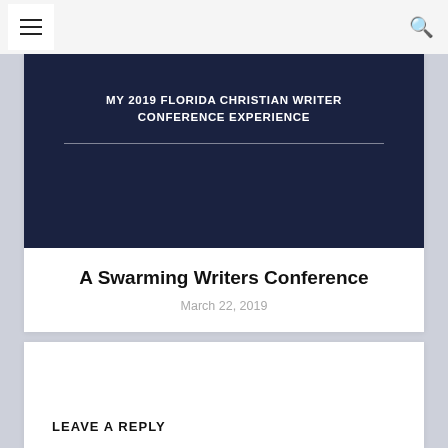[Figure (photo): Dark navy blue background image with white uppercase text reading 'MY 2019 FLORIDA CHRISTIAN WRITER CONFERENCE EXPERIENCE' and a thin horizontal rule below it.]
A Swarming Writers Conference
March 22, 2019
LEAVE A REPLY